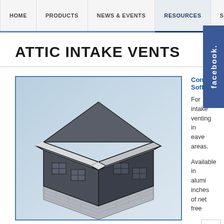HOME | PRODUCTS | NEWS & EVENTS | RESOURCES | SU...
ATTIC INTAKE VENTS
[Figure (illustration): 3D isometric illustration of a house showing attic intake vent placement, with a light gray roof, dark gray walls, and a gridded foundation. Blue gradient background.]
Continuous Soffit
For intake venting in eave areas.
Available in alumi inches of net free